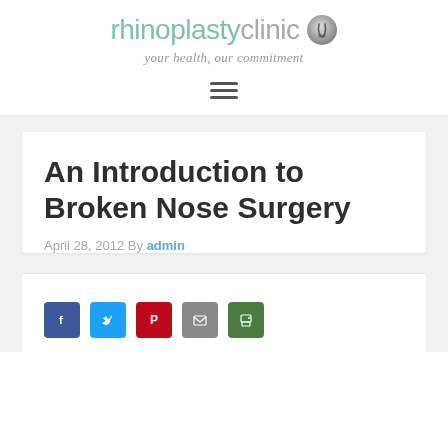[Figure (logo): Rhinoplasty Clinic logo with nose icon and tagline 'your health, our commitment']
An Introduction to Broken Nose Surgery
April 28, 2012 By admin
[Figure (infographic): Social share buttons: Facebook, Twitter, Pinterest, Email, Print]